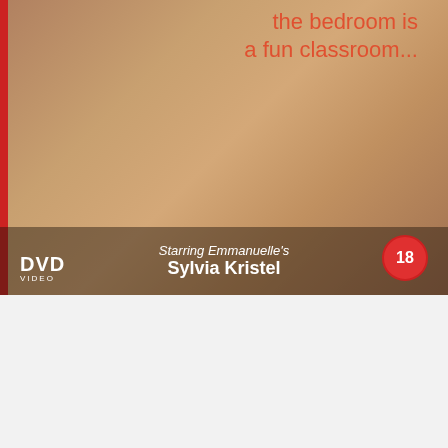[Figure (photo): DVD cover photo showing figures, with red border on left side, text overlay at top right reading 'the bedroom is a fun classroom...', DVD logo at bottom left, starring text 'Starring Emmanuelle's Sylvia Kristel' at bottom center, and age rating badge '18' at bottom right]
Share  Tweet  Pin  Mail
109 Votes
[Figure (photo): Partial bottom image strip, continuation of movie imagery with red top border]